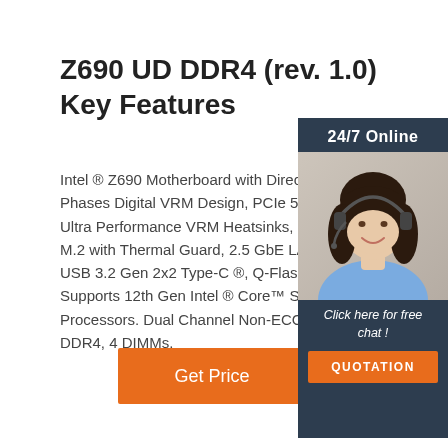Z690 UD DDR4 (rev. 1.0) Key Features
Intel ® Z690 Motherboard with Direct 16+2 Phases Digital VRM Design, PCIe 5.0 Design, Ultra Performance VRM Heatsinks, 3 x PCIe M.2 with Thermal Guard, 2.5 GbE LAN, Rear USB 3.2 Gen 2x2 Type-C ®, Q-Flash Plus, Supports 12th Gen Intel ® Core™ Series Processors. Dual Channel Non-ECC Unbuffered DDR4, 4 DIMMs.
[Figure (illustration): Customer service agent photo with dark hair, headset, blue shirt, smiling. Overlaid on dark navy side panel with '24/7 Online' header, 'Click here for free chat!' text, and an orange QUOTATION button.]